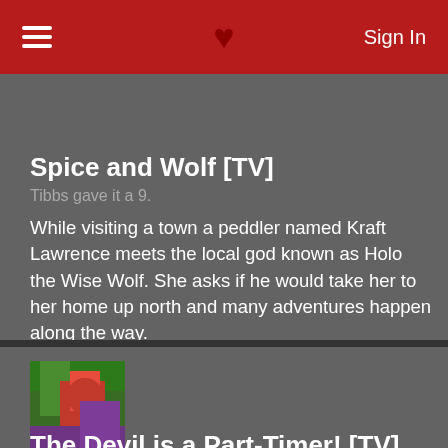Sign In
[Figure (illustration): Partial anime screenshot showing a character, cropped at top of card]
Spice and Wolf [TV]
Tibbs gave it a 9.
While visiting a town a peddler named Kraft Lawrence meets the local god known as Holo the Wise Wolf. She asks if he would take her to her home up north and many adventures happen along the way.
5592 users added this.
[Figure (illustration): Anime cover art showing characters including a red-haired female character and other figures in fantasy/medieval style clothing]
The Devil is a Part-Timer! [TV]